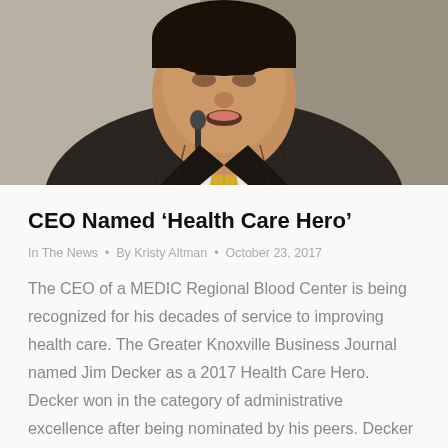[Figure (photo): Close-up photo of a man in a dark pinstripe suit with a yellow tie, speaking into a microphone, looking upward.]
CEO Named ‘Health Care Hero’
In The News • By Kristy Altman • October 23, 2017
The CEO of a MEDIC Regional Blood Center is being recognized for his decades of service to improving health care. The Greater Knoxville Business Journal named Jim Decker as a 2017 Health Care Hero. Decker won in the category of administrative excellence after being nominated by his peers. Decker has been leading MEDIC for the...